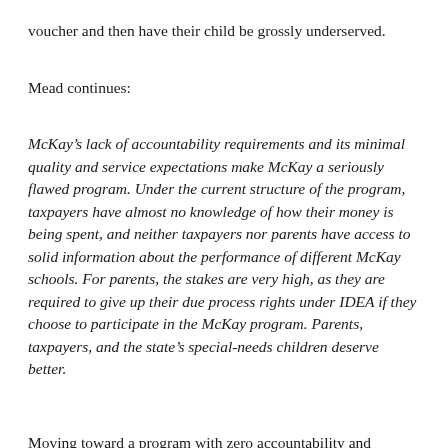voucher and then have their child be grossly underserved.
Mead continues:
McKay’s lack of accountability requirements and its minimal quality and service expectations make McKay a seriously flawed program. Under the current structure of the program, taxpayers have almost no knowledge of how their money is being spent, and neither taxpayers nor parents have access to solid information about the performance of different McKay schools. For parents, the stakes are very high, as they are required to give up their due process rights under IDEA if they choose to participate in the McKay program. Parents, taxpayers, and the state’s special-needs children deserve better.
Moving toward a program with zero accountability and unproven results seems a grave disservice to the families of special needs children in Tennessee.